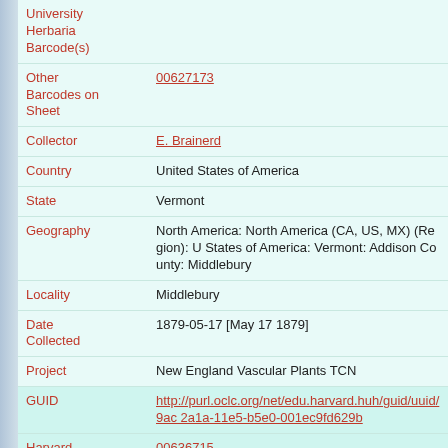| Field | Value |
| --- | --- |
| University Herbaria Barcode(s) |  |
| Other Barcodes on Sheet | 00627173 |
| Collector | E. Brainerd |
| Country | United States of America |
| State | Vermont |
| Geography | North America: North America (CA, US, MX) (Region): United States of America: Vermont: Addison County: Middlebury |
| Locality | Middlebury |
| Date Collected | 1879-05-17 [May 17 1879] |
| Project | New England Vascular Plants TCN |
| GUID | http://purl.oclc.org/net/edu.harvard.huh/guid/uuid/9ac...2a1a-11e5-b5e0-001ec9fd629b |
| Harvard University Herbaria Barcode | 00636715 |
| Herbarium | NEBC |
| Family | Betulaceae |